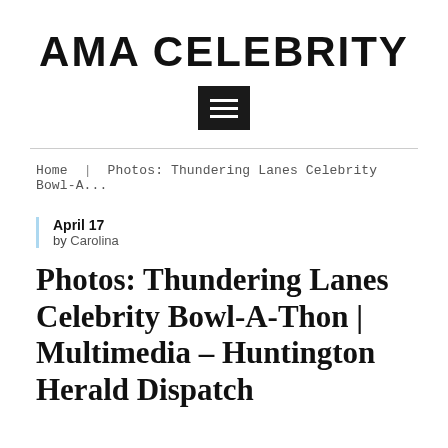AMA CELEBRITY
Home | Photos: Thundering Lanes Celebrity Bowl-A...
April 17
by Carolina
Photos: Thundering Lanes Celebrity Bowl-A-Thon | Multimedia – Huntington Herald Dispatch